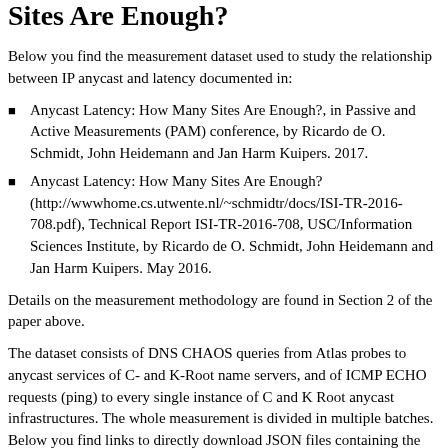Sites Are Enough?
Below you find the measurement dataset used to study the relationship between IP anycast and latency documented in:
Anycast Latency: How Many Sites Are Enough?, in Passive and Active Measurements (PAM) conference, by Ricardo de O. Schmidt, John Heidemann and Jan Harm Kuipers. 2017.
Anycast Latency: How Many Sites Are Enough? (http://wwwhome.cs.utwente.nl/~schmidtr/docs/ISI-TR-2016-708.pdf), Technical Report ISI-TR-2016-708, USC/Information Sciences Institute, by Ricardo de O. Schmidt, John Heidemann and Jan Harm Kuipers. May 2016.
Details on the measurement methodology are found in Section 2 of the paper above.
The dataset consists of DNS CHAOS queries from Atlas probes to anycast services of C- and K-Root name servers, and of ICMP ECHO requests (ping) to every single instance of C and K Root anycast infrastructures. The whole measurement is divided in multiple batches. Below you find links to directly download JSON files containing the measurement data. Our measurements are also